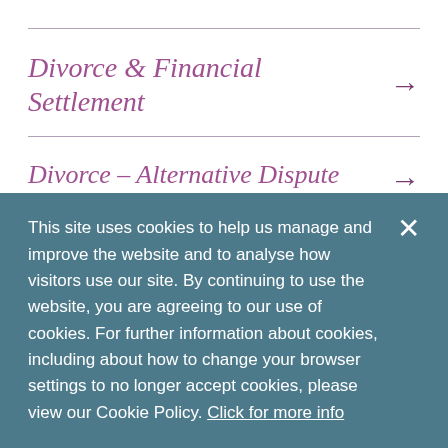Divorce & Financial Settlement →
Divorce – Alternative Dispute Resolution →
This site uses cookies to help us manage and improve the website and to analyse how visitors use our site. By continuing to use the website, you are agreeing to our use of cookies. For further information about cookies, including about how to change your browser settings to no longer accept cookies, please view our Cookie Policy. Click for more info